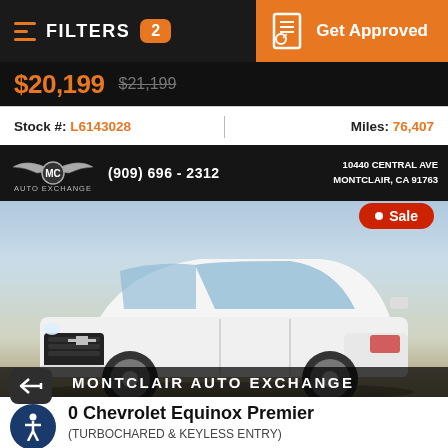FILTERS 2 | Get Approved
$20,199 $21,199
Stock #: L6143028 | Miles: 76,407
[Figure (photo): White Chevrolet Equinox Premier SUV photographed in a dealer lot. Dealer header shows MC Auto Exchange logo, phone (909) 696-2312, 10440 Central Ave, Montclair, CA 91763. Red Sale badge visible top right. Bottom overlay reads MONTCLAIR AUTO EXCHANGE.]
0 Chevrolet Equinox Premier
(TURBOCHARED & KEYLESS ENTRY)